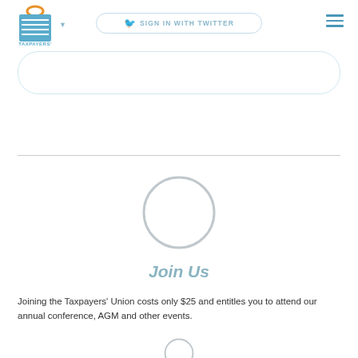Taxpayers Union — Sign in with Twitter navigation header
[Figure (logo): Taxpayers Union logo — building/capitol icon with horizontal lines and orange bag top]
SIGN IN WITH TWITTER
[Figure (illustration): Circular profile avatar placeholder (empty grey circle outline)]
Join Us
Joining the Taxpayers' Union costs only $25 and entitles you to attend our annual conference, AGM and other events.